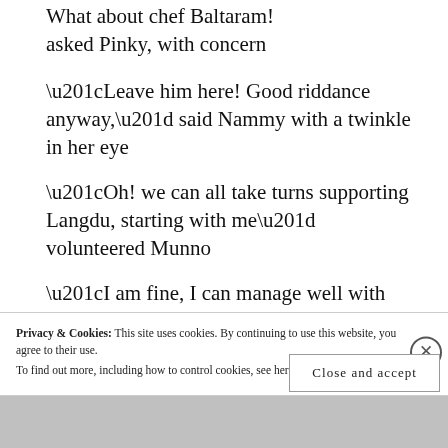What about chef Baltaram! asked Pinky, with concern
“Leave him here! Good riddance anyway,” said Nammy with a twinkle in her eye
“Oh! we can all take turns supporting Langdu, starting with me” volunteered Munno
“I am fine, I can manage well with
Privacy & Cookies: This site uses cookies. By continuing to use this website, you agree to their use.
To find out more, including how to control cookies, see here: Cookie Policy
Close and accept